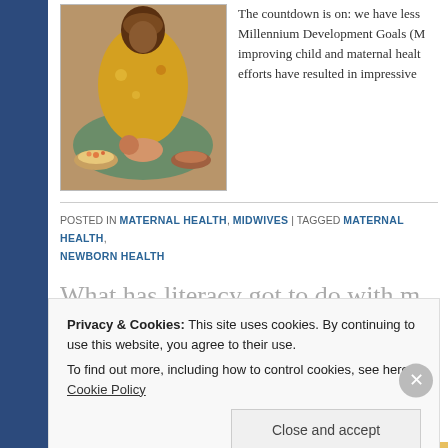[Figure (photo): Photograph of a woman in colorful yellow/orange fabric sitting on the ground with a baby and bowls of food]
The countdown is on: we have less [than 500 days to achieve the] Millennium Development Goals (M[DG) for] improving child and maternal healt[h. Global] efforts have resulted in impressive [progress...]
POSTED IN MATERNAL HEALTH, MIDWIVES | TAGGED MATERNAL HEALTH, NEWBORN HEALTH
What has literacy got to do with m[aternal] health?
POSTED ON SEPTEMBER 8, 2014
Privacy & Cookies: This site uses cookies. By continuing to use this website, you agree to their use.
To find out more, including how to control cookies, see here: Cookie Policy
Close and accept